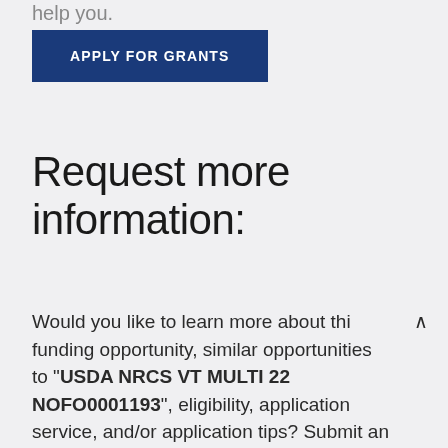help you.
[Figure (other): Blue button labeled APPLY FOR GRANTS]
Request more information:
Would you like to learn more about this funding opportunity, similar opportunities to "USDA NRCS VT MULTI 22 NOFO0001193", eligibility, application service, and/or application tips? Submit an